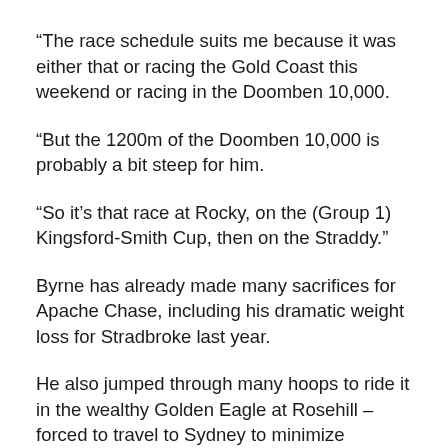“The race schedule suits me because it was either that or racing the Gold Coast this weekend or racing in the Doomben 10,000.
“But the 1200m of the Doomben 10,000 is probably a bit steep for him.
“So it’s that race at Rocky, on the (Group 1) Kingsford-Smith Cup, then on the Straddy.”
Byrne has already made many sacrifices for Apache Chase, including his dramatic weight loss for Stradbroke last year.
He also jumped through many hoops to ride it in the wealthy Golden Eagle at Rosehill – forced to travel to Sydney to minimize